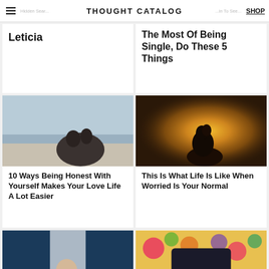THOUGHT CATALOG | SHOP
Leticia
The Most Of Being Single, Do These 5 Things
[Figure (photo): Couple sitting together on a beach at dusk, with a pale sky and sandy shore]
10 Ways Being Honest With Yourself Makes Your Love Life A Lot Easier
[Figure (photo): Silhouette of a person with warm golden sunset light behind them]
This Is What Life Is Like When Worried Is Your Normal
[Figure (photo): Person in white shirt indoors, with blue background]
[Figure (photo): Colorful floral and dark fabric clothing laid out, overhead view]